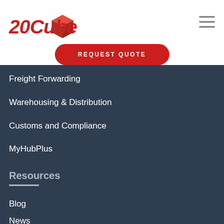[Figure (logo): 20Cube logo with red cube graphic and stylized red text]
[Figure (other): Hamburger menu icon (three horizontal lines)]
REQUEST QUOTE
Freight Forwarding
Warehousing & Distribution
Customs and Compliance
MyHubPlus
Resources
Blog
News
CSR